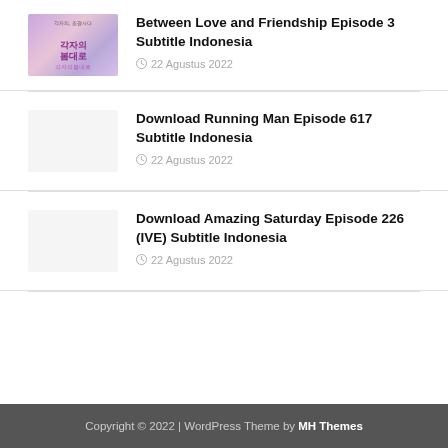Between Love and Friendship Episode 3 Subtitle Indonesia — 22 Agustus 2022
Download Running Man Episode 617 Subtitle Indonesia — 22 Agustus 2022
Download Amazing Saturday Episode 226 (IVE) Subtitle Indonesia — 22 Agustus 2022
Copyright © 2022 | WordPress Theme by MH Themes